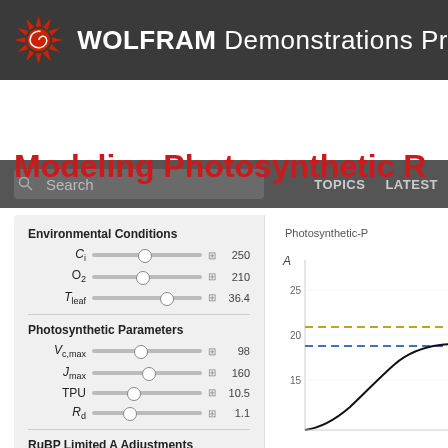WOLFRAM Demonstrations Pr
Modeling Photosynthetic R
[Figure (continuous-plot): Photosynthetic-P(hotosynthesis) curve showing A vs Ci with dashed lines for Wc (gold/yellow dashed), Wj (blue dashed), and a rising black curve. Y-axis shows A with values 15, 20, 25 visible.]
Environmental Conditions
Ci — slider — 250
O2 — slider — 210
T_leaf — slider — 36.4
Photosynthetic Parameters
Vc,max — slider — 98
Jmax — slider — 160
TPU — slider — 10.5
Rd — slider — 1.1
RuBP Limited A Adjustments